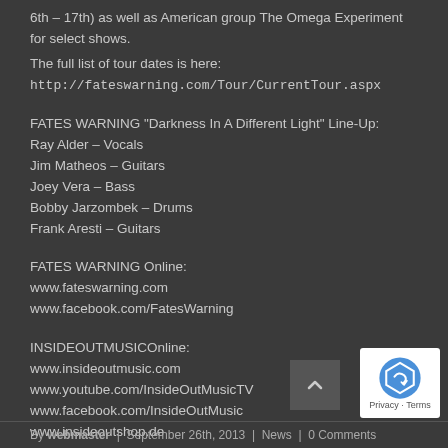6th – 17th) as well as American group The Omega Experiment for select shows.
The full list of tour dates is here: http://fateswarning.com/Tour/CurrentTour.aspx
FATES WARNING "Darkness In A Different Light" Line-Up:
Ray Alder – Vocals
Jim Matheos – Guitars
Joey Vera – Bass
Bobby Jarzombek – Drums
Frank Aresti – Guitars
FATES WARNING Online:
www.fateswarning.com
www.facebook.com/FatesWarning
INSIDEOUTMUSICOnline:
www.insideoutmusic.com
www.youtube.com/InsideOutMusicTV
www.facebook.com/InsideOutMusic
www.insideoutshop.de
By webmaster | September 26th, 2013 | News | 0 Comments